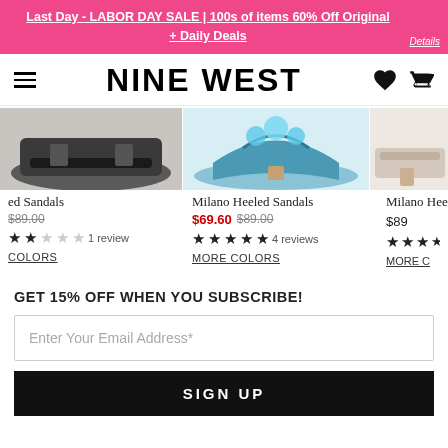Last Day - LABOR DAY SALE | 100s of items 60% Off Original + Daily Deals
[Figure (logo): Nine West logo with hamburger menu, heart and bag icons]
[Figure (photo): Three product images of Milano Heeled Sandals (partial left, center blue, partial right)]
ed Sandals $89.00 1 review COLORS
Milano Heeled Sandals $69.60 $89.00 4 reviews MORE COLORS
Milano Hee $89 MORE C
GET 15% OFF WHEN YOU SUBSCRIBE!
Enter Your Email Address*
SIGN UP